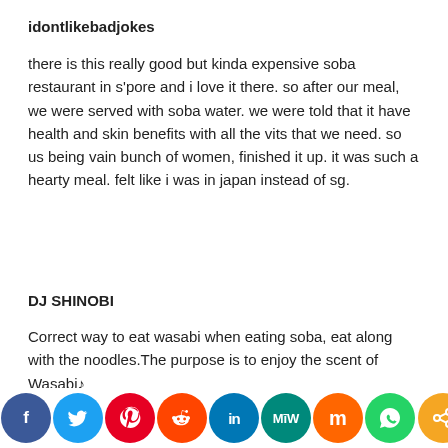idontlikebadjokes
there is this really good but kinda expensive soba restaurant in s'pore and i love it there. so after our meal, we were served with soba water. we were told that it have health and skin benefits with all the vits that we need. so us being vain bunch of women, finished it up. it was such a hearty meal. felt like i was in japan instead of sg.
DJ SHINOBI
Correct way to eat wasabi when eating soba, eat along with the noodles.The purpose is to enjoy the scent of Wasabi♪
[Figure (infographic): Social media sharing icons row: Facebook (blue), Twitter (light blue), Pinterest (red), Reddit (orange-red), LinkedIn (blue), MeWe (teal), Mix (orange), WhatsApp (green), Share (orange)]